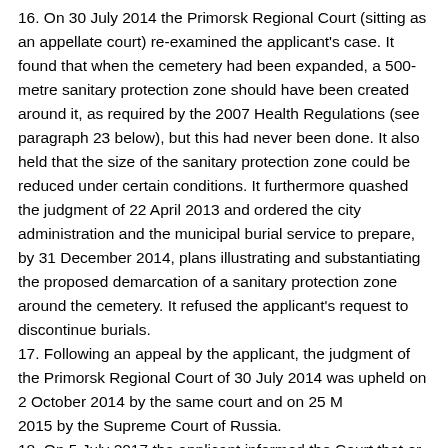16. On 30 July 2014 the Primorsk Regional Court (sitting as an appellate court) re-examined the applicant's case. It found that when the cemetery had been expanded, a 500-metre sanitary protection zone should have been created around it, as required by the 2007 Health Regulations (see paragraph 23 below), but this had never been done. It also held that the size of the sanitary protection zone could be reduced under certain conditions. It furthermore quashed the judgment of 22 April 2013 and ordered the city administration and the municipal burial service to prepare, by 31 December 2014, plans illustrating and substantiating the proposed demarcation of a sanitary protection zone around the cemetery. It refused the applicant's request to discontinue burials.
17. Following an appeal by the applicant, the judgment of the Primorsk Regional Court of 30 July 2014 was upheld on 2 October 2014 by the same court and on 25 March 2015 by the Supreme Court of Russia.
18. On 5 July 2017 the applicant informed the Court that er